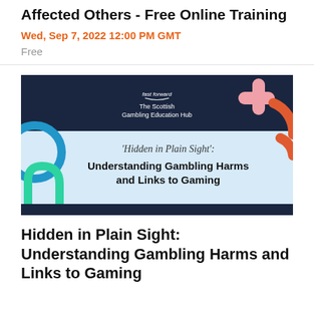Affected Others - Free Online Training
Wed, Sep 7, 2022 12:00 PM GMT
Free
[Figure (illustration): Promotional banner for 'Hidden in Plain Sight: Understanding Gambling Harms and Links to Gaming' by The Scottish Gambling Education Hub (fast forward). Dark navy top section with logo and colorful abstract shapes (blue circle, teal/green curved line, pink cross, orange circle arc). Light blue lower section with italic title text and bold subtitle text.]
Hidden in Plain Sight: Understanding Gambling Harms and Links to Gaming